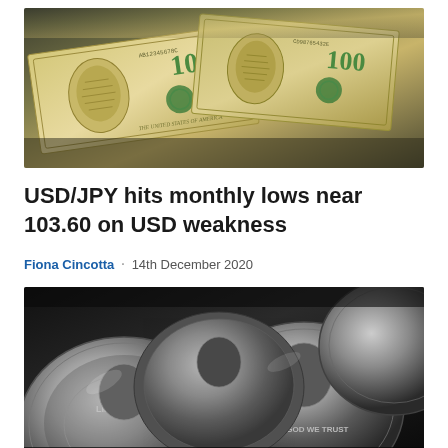[Figure (photo): Close-up photo of US 100 dollar bills fanned out, showing Benjamin Franklin portraits and green ink details]
USD/JPY hits monthly lows near 103.60 on USD weakness
Fiona Cincotta  ·  14th December 2020
[Figure (photo): Black and white close-up photo of multiple coins stacked and scattered, showing detailed coin surfaces and relief patterns]